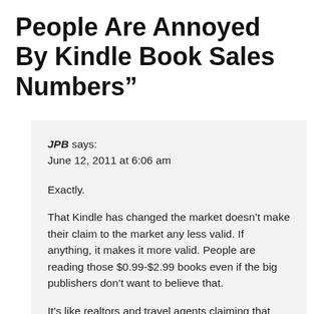People Are Annoyed By Kindle Book Sales Numbers”
JPB says:
June 12, 2011 at 6:06 am

Exactly.

That Kindle has changed the market doesn’t make their claim to the market any less valid. If anything, it makes it more valid. People are reading those $0.99-$2.99 books even if the big publishers don’t want to believe that.

It’s like realtors and travel agents claiming that homes and vacations sold over the internet don’t count because it